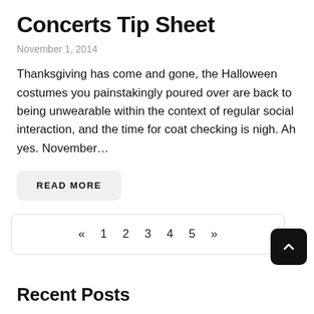Concerts Tip Sheet
November 1, 2014
Thanksgiving has come and gone, the Halloween costumes you painstakingly poured over are back to being unwearable within the context of regular social interaction, and the time for coat checking is nigh. Ah yes. November…
READ MORE
« 1 2 3 4 5 »
Recent Posts